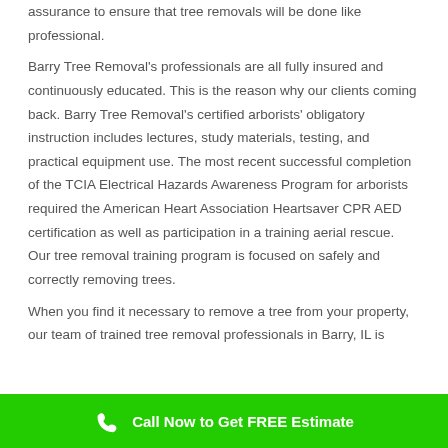assurance to ensure that tree removals will be done like professional.
Barry Tree Removal's professionals are all fully insured and continuously educated. This is the reason why our clients coming back. Barry Tree Removal's certified arborists' obligatory instruction includes lectures, study materials, testing, and practical equipment use. The most recent successful completion of the TCIA Electrical Hazards Awareness Program for arborists required the American Heart Association Heartsaver CPR AED certification as well as participation in a training aerial rescue. Our tree removal training program is focused on safely and correctly removing trees.
When you find it necessary to remove a tree from your property, our team of trained tree removal professionals in Barry, IL is
Call Now to Get FREE Estimate